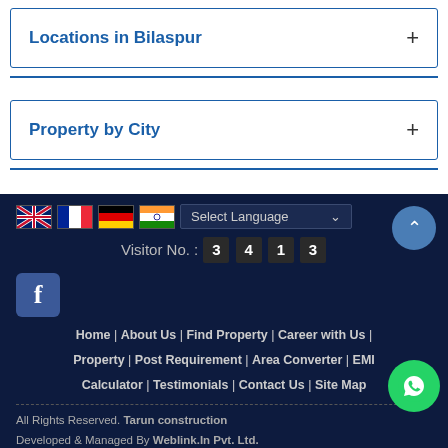Locations in Bilaspur
Property by City
[Figure (infographic): Footer section with language selector flags (UK, France, Germany, India), Select Language dropdown, Visitor No. counter showing 3413, Facebook icon, scroll-to-top button, WhatsApp button, navigation links, and copyright footer.]
All Rights Reserved. Tarun construction Developed & Managed By Weblink.In Pvt. Ltd.